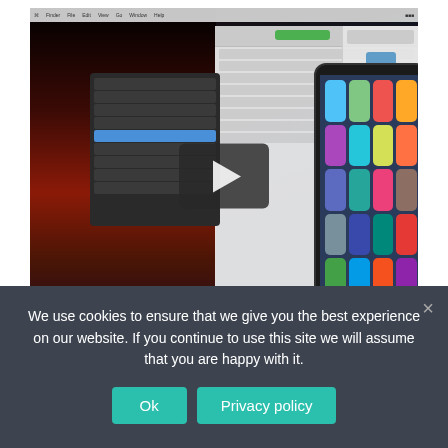[Figure (screenshot): A screenshot of a macOS desktop with a context menu open, a file browser window, and an iPhone propped against the laptop, all overlaid with a video play button indicating an embedded video thumbnail.]
We use cookies to ensure that we give you the best experience on our website. If you continue to use this site we will assume that you are happy with it.
Ok
Privacy policy